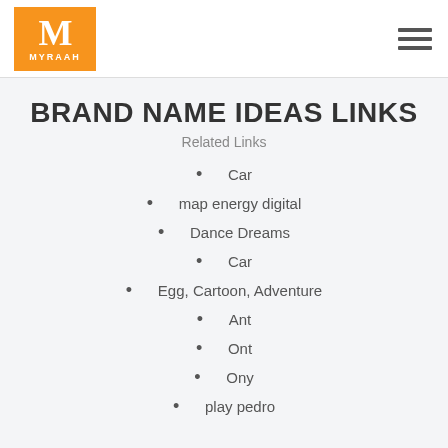[Figure (logo): Myraah logo: orange square with white M letter and MYRAAH text below]
BRAND NAME IDEAS LINKS
Related Links
Car
map energy digital
Dance Dreams
Car
Egg, Cartoon, Adventure
Ant
Ont
Ony
play pedro